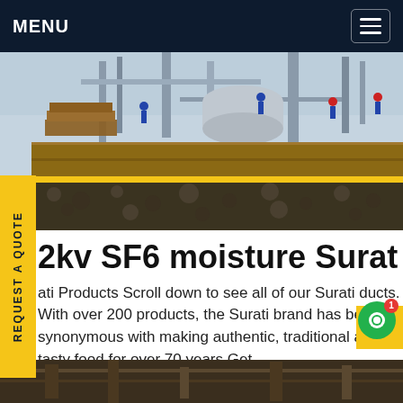MENU
[Figure (photo): Industrial construction site photo showing workers, machinery, pipes, tanks, and aggregate/crushed stone material in the foreground with wooden formwork and industrial equipment in the background]
REQUEST A QUOTE
2kv SF6 moisture Surat
ati Products Scroll down to see all of our Surati ducts. With over 200 products, the Surati brand has been synonymous with making authentic, traditional and tasty food for over 70 years.Get
[Figure (photo): Bottom partial image of industrial/construction scene, dark tones]